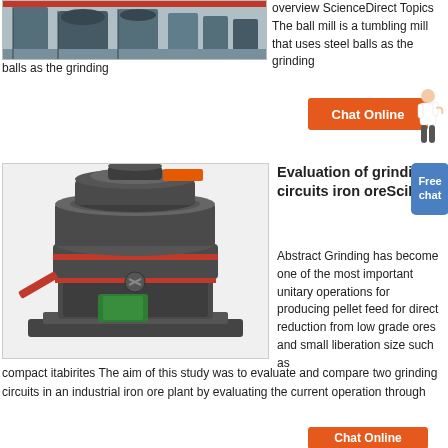[Figure (photo): Industrial ball mill machinery in a factory setting, blue/grey equipment]
overview ScienceDirect Topics The ball mill is a tumbling mill that uses steel balls as the grinding
[Figure (illustration): Orange and black chat online button with person illustration]
[Figure (photo): Large industrial grinding mill machine, dark grey with orange/red accents, compact vertical design]
Evaluation of grinding circuits iron oreSciELO
Abstract Grinding has become one of the most important unitary operations for producing pellet feed for direct reduction from low grade ores and small liberation size such as compact itabirites The aim of this study was to evaluate and compare two grinding circuits in an industrial iron ore plant by evaluating the current operation through
[Figure (illustration): Chat Online orange button]
[Figure (illustration): Free chat blue button]